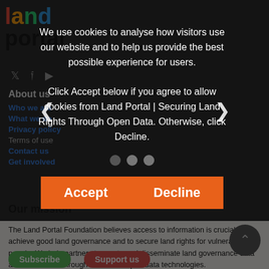[Figure (logo): Land Portal colorful logo with 'land' in multicolor and 'portal' in dark below]
[Figure (infographic): Social media icons: Twitter, Facebook, YouTube]
About us
Who we are
What we do
Privacy policy
Terms of use
Contact us
Get involved
Our mission
The Land Portal Foundation believes access to information is crucial to achieve good land governance and to secure land rights for vulnerable people. We help partners to create and disseminate land governance data and information through linked and open data technologies.
Subscribe   Support us
We use cookies to analyse how visitors use our website and to help us provide the best possible experience for users.

Click Accept below if you agree to allow cookies from Land Portal | Securing Land Rights Through Open Data. Otherwise, click Decline.
Accept
Decline